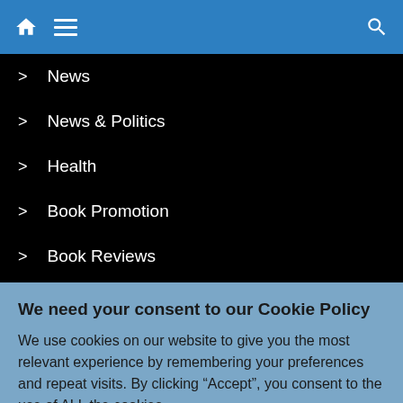[Figure (screenshot): Blue navigation bar with home icon, hamburger menu icon, and search icon]
> News
> News & Politics
> Health
> Book Promotion
> Book Reviews
We need your consent to our Cookie Policy
We use cookies on our website to give you the most relevant experience by remembering your preferences and repeat visits. By clicking "Accept", you consent to the use of ALL the cookies.
Do not sell my personal information.
Cookie Settings   Accept